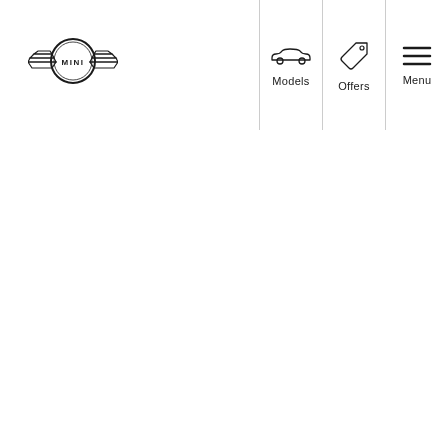MINI logo with Models, Offers, Menu navigation
[Figure (logo): MINI logo: circular badge with MINI text and wing emblem]
[Figure (illustration): Car icon (side profile silhouette) above the word Models]
[Figure (illustration): Price tag icon above the word Offers]
[Figure (illustration): Hamburger menu icon (three horizontal lines) above the word Menu]